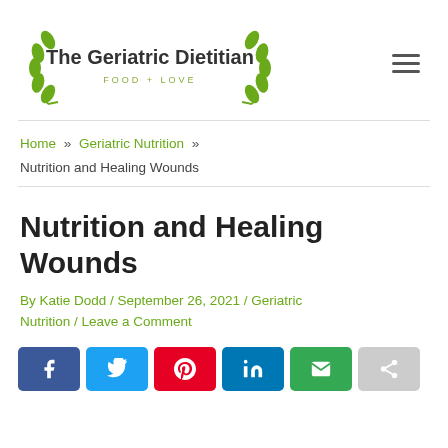[Figure (logo): The Geriatric Dietitian logo with wreath and text 'FOOD + LOVE']
Home » Geriatric Nutrition »
Nutrition and Healing Wounds
Nutrition and Healing Wounds
By Katie Dodd / September 26, 2021 / Geriatric Nutrition / Leave a Comment
[Figure (other): Social sharing buttons: Facebook, Twitter, Pinterest, LinkedIn, Email, Share]